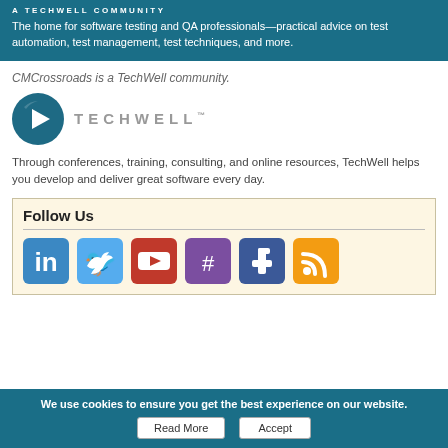A TECHWELL COMMUNITY
The home for software testing and QA professionals—practical advice on test automation, test management, test techniques, and more.
CMCrossroads is a TechWell community.
[Figure (logo): TechWell logo with circular play-button icon and TECHWELL wordmark]
Through conferences, training, consulting, and online resources, TechWell helps you develop and deliver great software every day.
Follow Us
[Figure (infographic): Social media icons: LinkedIn, Twitter, YouTube, Slack, Facebook, RSS]
We use cookies to ensure you get the best experience on our website.
Read More   Accept